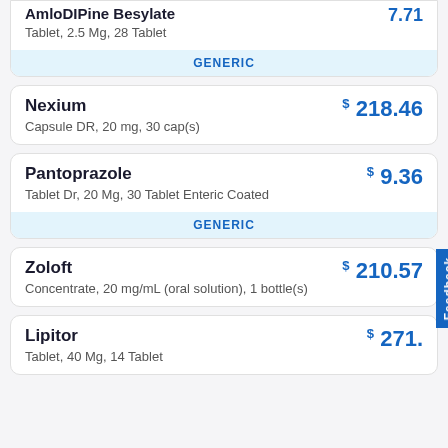| Drug Name | Details | Price |
| --- | --- | --- |
| Amlodipine Besylate (partial) | Tablet, 2.5 Mg, 28 Tablet | 7.71 |
| Nexium | Capsule DR, 20 mg, 30 cap(s) | $218.46 |
| Pantoprazole | Tablet Dr, 20 Mg, 30 Tablet Enteric Coated | $9.36 |
| Zoloft | Concentrate, 20 mg/mL (oral solution), 1 bottle(s) | $210.57 |
| Lipitor | Tablet, 40 Mg, 14 Tablet | $271.? |